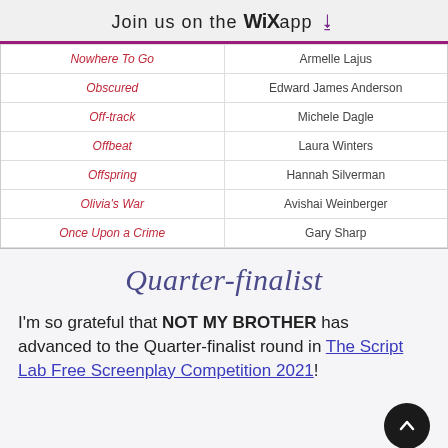Join us on the WiX app
| Script Title | Author |
| --- | --- |
| Nowhere To Go | Armelle Lajus |
| Obscured | Edward James Anderson |
| Off-track | Michele Dagle |
| Offbeat | Laura Winters |
| Offspring | Hannah Silverman |
| Olivia's War | Avishai Weinberger |
| Once Upon a Crime | Gary Sharp |
Quarter-finalist
I'm so grateful that NOT MY BROTHER has advanced to the Quarter-finalist round in The Script Lab Free Screenplay Competition 2021!